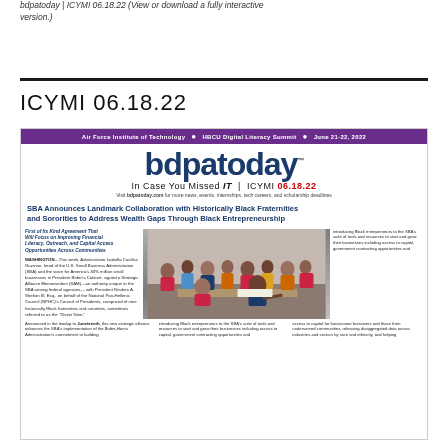bdpatoday | ICYMI 06.18.22 (View or download a fully interactive version.)
ICYMI 06.18.22
[Figure (screenshot): Screenshot of bdpatoday newsletter ICYMI 06.18.22, published by Air Force Institute of Technology HBCU Digital Literacy Summit June 21-22 2022. Features bdpatoday logo, headline about SBA Landmark Collaboration with Historically Black Fraternities and Sororities, and a group photo of officials signing documents.]